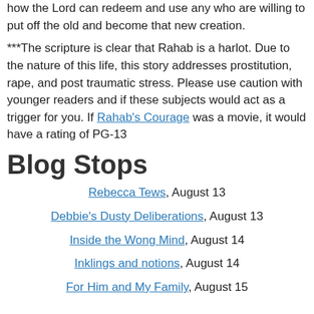how the Lord can redeem and use any who are willing to put off the old and become that new creation.
***The scripture is clear that Rahab is a harlot. Due to the nature of this life, this story addresses prostitution, rape, and post traumatic stress. Please use caution with younger readers and if these subjects would act as a trigger for you. If Rahab's Courage was a movie, it would have a rating of PG-13
Blog Stops
Rebecca Tews, August 13
Debbie's Dusty Deliberations, August 13
Inside the Wong Mind, August 14
Inklings and notions, August 14
For Him and My Family, August 15